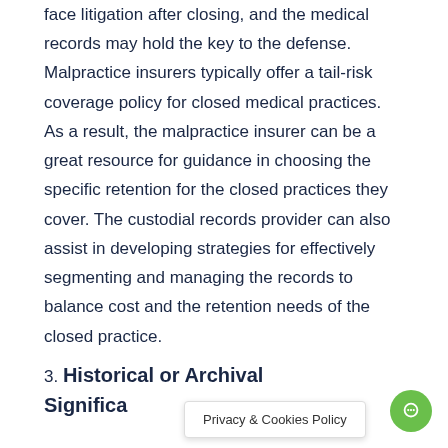face litigation after closing, and the medical records may hold the key to the defense. Malpractice insurers typically offer a tail-risk coverage policy for closed medical practices. As a result, the malpractice insurer can be a great resource for guidance in choosing the specific retention for the closed practices they cover. The custodial records provider can also assist in developing strategies for effectively segmenting and managing the records to balance cost and the retention needs of the closed practice.
3. Historical or Archival Significa...